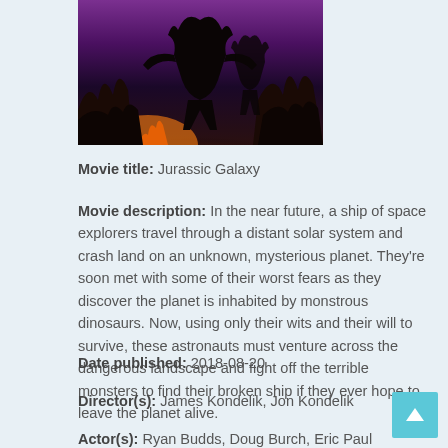[Figure (illustration): Movie cover art showing dark fantasy/sci-fi scene with dinosaur-like creatures and volcanic/lava background with purple and orange tones]
Movie title: Jurassic Galaxy
Movie description: In the near future, a ship of space explorers travel through a distant solar system and crash land on an unknown, mysterious planet. They're soon met with some of their worst fears as they discover the planet is inhabited by monstrous dinosaurs. Now, using only their wits and their will to survive, these astronauts must venture across the dangerous landscape and fight off the terrible monsters to find their broken ship if they ever hope to leave the planet alive.
Date published: 2018-08-20
Director(s): James Kondelik, Jon Kondelik
Actor(s): Ryan Budds, Doug Burch, Eric Paul Erickson, Jonathan Nation, Frankie Ray, Tamara Stayer, Madison West